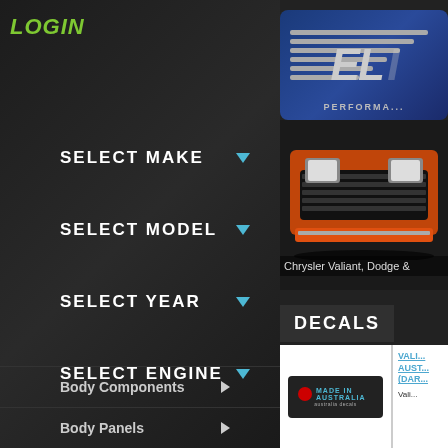LOGIN
SELECT MAKE
SELECT MODEL
SELECT YEAR
SELECT ENGINE
[Figure (logo): ELI Performance logo with horizontal stripes on blue background]
[Figure (photo): Front of an orange/red classic Chrysler Valiant car]
Chrysler Valiant, Dodge &
DECALS
[Figure (photo): Made in Australia decal sticker]
VALI... AUST... (DAR... Vali...
Body Components
Body Panels